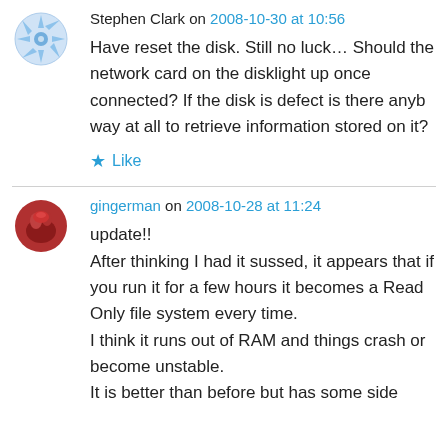Stephen Clark on 2008-10-30 at 10:56
Have reset the disk. Still no luck… Should the network card on the disklight up once connected? If the disk is defect is there anyb way at all to retrieve information stored on it?
★ Like
gingerman on 2008-10-28 at 11:24
update!!
After thinking I had it sussed, it appears that if you run it for a few hours it becomes a Read Only file system every time.
I think it runs out of RAM and things crash or become unstable.
It is better than before but has some side issues.